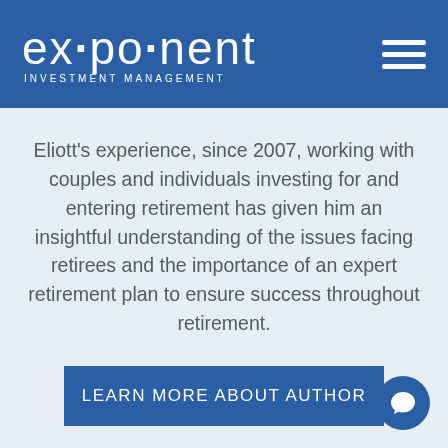[Figure (logo): Exponent Investment Management logo with stylized text 'ex·po·nent' and subtitle 'INVESTMENT MANAGEMENT' on blue header background, with hamburger menu icon on right]
Eliott's experience, since 2007, working with couples and individuals investing for and entering retirement has given him an insightful understanding of the issues facing retirees and the importance of an expert retirement plan to ensure success throughout retirement.
LEARN MORE ABOUT AUTHOR